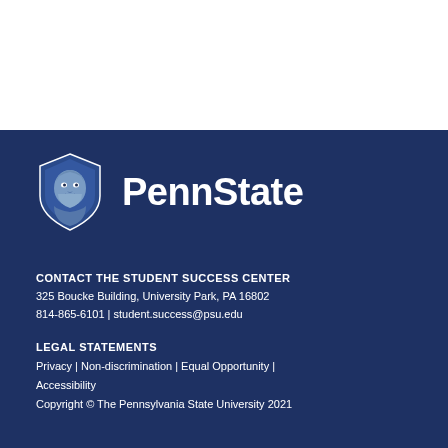[Figure (logo): Penn State logo with Nittany Lion shield icon and 'PennState' wordmark in white on dark blue background]
CONTACT THE STUDENT SUCCESS CENTER
325 Boucke Building, University Park, PA 16802
814-865-6101 | student.success@psu.edu
LEGAL STATEMENTS
Privacy | Non-discrimination | Equal Opportunity | Accessibility
Copyright © The Pennsylvania State University 2021